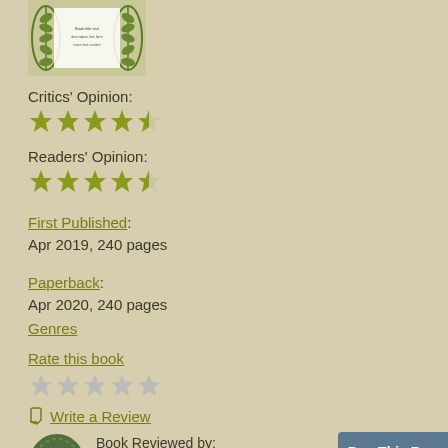[Figure (illustration): Book cover with decorative olive branch border and small text, partially visible at top]
Critics' Opinion:
[Figure (other): 4.5 out of 5 gold stars rating for Critics' Opinion]
Readers' Opinion:
[Figure (other): 4.5 out of 5 gold stars rating for Readers' Opinion]
First Published: Apr 2019, 240 pages
Paperback: Apr 2020, 240 pages
Genres
Rate this book
[Figure (other): 5 empty/ghost stars for user rating]
Write a Review
Book Reviewed by: BookBrowse First Impression Reviewers
Buy This Boo